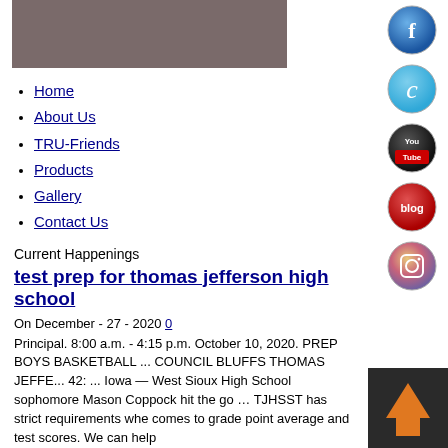[Figure (photo): Header banner image with dark brownish-gray background]
Home
About Us
TRU-Friends
Products
Gallery
Contact Us
Current Happenings
test prep for thomas jefferson high school
On December - 27 - 2020 0
Principal. 8:00 a.m. - 4:15 p.m. October 10, 2020. PREP BOYS BASKETBALL ... COUNCIL BLUFFS THOMAS JEFFE... 42: ... Iowa — West Sioux High School sophomore Mason Coppock hit the go … TJHSST has strict requirements whe comes to grade point average and test scores. We can help
[Figure (logo): Facebook social icon - blue circle with f]
[Figure (logo): Twitter social icon - blue circle with t]
[Figure (logo): YouTube social icon - black and red circle with You Tube text]
[Figure (logo): Blog social icon - red circle with blog text]
[Figure (logo): Instagram social icon - camera icon circle]
[Figure (illustration): Back to top orange arrow on dark background]